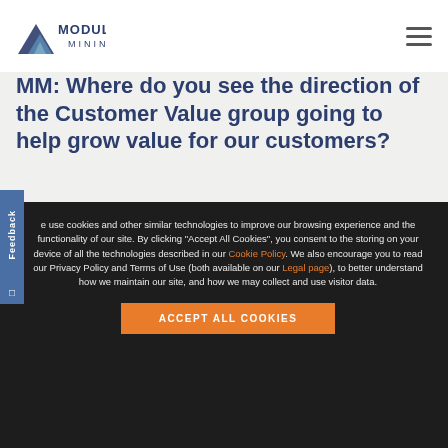[Figure (logo): Modular Mining logo with mountain/chevron graphic and company name]
MM: Where do you see the direction of the Customer Value group going to help grow value for our customers?
We use cookies and other similar technologies to improve our browsing experience and the functionality of our site. By clicking "Accept All Cookies", you consent to the storing on your device of all the technologies described in our Cookie Policy. We also encourage you to read our Privacy Policy and Terms of Use (both available on our Legal page), to better understand how we maintain our site, and how we may collect and use visitor data.
ACCEPT ALL COOKIES